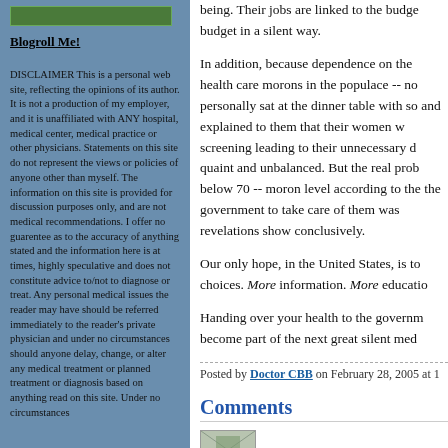[Figure (logo): Small green logo/banner at top of left sidebar]
Blogroll Me!
DISCLAIMER This is a personal web site, reflecting the opinions of its author. It is not a production of my employer, and it is unaffiliated with ANY hospital, medical center, medical practice or other physicians. Statements on this site do not represent the views or policies of anyone other than myself. The information on this site is provided for discussion purposes only, and are not medical recommendations. I offer no guarentee as to the accuracy of anything stated and the information here is at times, highly speculative and does not constitute advice to/not to diagnose or treat. Any personal medical issues the reader may have should be referred immediately to the reader's private physician and under no circumstances should anyone delay, change, or alter any medical treatment or planned treatment or diagnosis based on anything read on this site. Under no circumstances
being. Their jobs are linked to the budget in a silent way.
In addition, because dependence on the health care morons in the populace -- no personally sat at the dinner table with so and explained to them that their women w screening leading to their unnecessary d quaint and unbalanced. But the real prob below 70 -- moron level according to the the government to take care of them was revelations show conclusively.
Our only hope, in the United States, is to choices. More information. More educatio
Handing over your health to the governm become part of the next great silent med
Posted by Doctor CBB on February 28, 2005 at 1
Comments
[Figure (illustration): Small thumbnail image at bottom right]